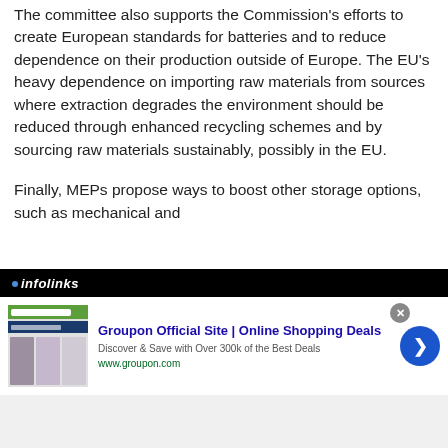The committee also supports the Commission's efforts to create European standards for batteries and to reduce dependence on their production outside of Europe. The EU's heavy dependence on importing raw materials from sources where extraction degrades the environment should be reduced through enhanced recycling schemes and by sourcing raw materials sustainably, possibly in the EU.
Finally, MEPs propose ways to boost other storage options, such as mechanical and
[Figure (screenshot): Infolinks advertisement bar showing a Groupon advertisement. Header bar reads 'infolinks'. Ad shows Groupon Official Site | Online Shopping Deals with description 'Discover & Save with Over 300k of the Best Deals' and URL www.groupon.com. Contains a close button and a blue arrow navigation button.]